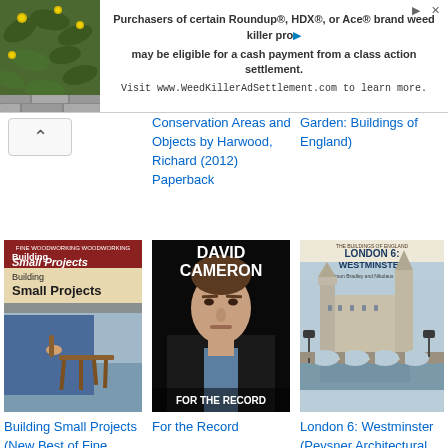[Figure (screenshot): Ad banner for WeedKillerAdSettlement.com with plant background image and text about Roundup HDX Ace brand weed killer class action settlement]
Conservation Areas and Objects by Harwood, Richard (2012) Paperback
Garden: Buildings of England)
[Figure (photo): Book cover: Building Small Projects (New Best of Fine Woodworking) showing a wooden stool being built]
Building Small Projects (New Best of Fine Woodworking)
[Figure (photo): Book cover: David Cameron For the Record - portrait photo of David Cameron on black background]
For the Record
[Figure (photo): Book cover: London 6: Westminster (Pevsner Architectural Guides: Buildings of England) showing Westminster Palace]
London 6: Westminster (Pevsner Architectural Guides: Buildings